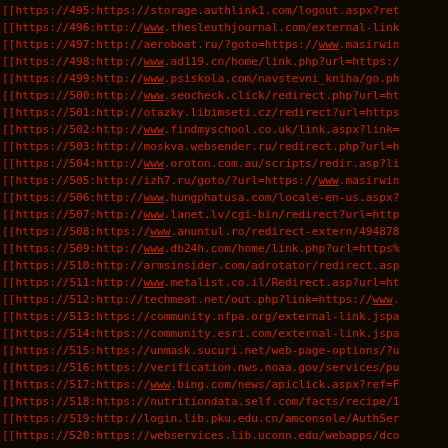[[https://495:https://storage.authlink1.com/logout.aspx?ret
[[https://496:http://www.thesleuthjournal.com/external-link
[[https://497:http://aeroboat.ru/?goto=https://www.masirwin
[[https://498:http://www.ad119.cn/home/link.php?url=https:/
[[https://499:http://www.psiskola.com/navstevni_kniha/go.ph
[[https://500:http://www.seocheck.click/redirect.php?url=ht
[[https://501:http://otazky.libimseti.cz/redirect?url=https
[[https://502:http://www.findmyschool.co.uk/link.aspx?link=
[[https://503:http://moskva.websender.ru/redirect.php?url=h
[[https://504:http://www.oroton.com.au/scripts/redir.asp?li
[[https://505:http://izh7.ru/goto/?url=https://www.masirwin
[[https://506:http://www.hungphatusa.com/locale-en-us.aspx?
[[https://507:http://www.lanet.lv/cgi-bin/redirect?url=http
[[https://508:https://www.anuntul.ro/redirect-extern/494878
[[https://509:http://www.db24h.com/home/link.php?url=https%
[[https://510:http://armsinsider.com/adrotator/redirect.asp
[[https://511:http://www.metalist.co.il/Redirect.asp?url=ht
[[https://512:http://techmeat.net/out.php?link=https://www.
[[https://513:https://community.nfpa.org/external-link.jspa
[[https://514:https://community.esri.com/external-link.jspa
[[https://515:https://unmask.sucuri.net/web-page-options/?u
[[https://516:https://verification.nws.noaa.gov/services/pu
[[https://517:https://www.bing.com/news/apiclick.aspx?ref=F
[[https://518:https://nutritiondata.self.com/facts/recipe/1
[[https://519:http://login.lib.pku.edu.cn/amconsole/AuthSer
[[https://520:https://webservices.lib.uconn.edu/webapps/dco
[[https://521:https://id.telstra.com.au/register/crowdsupp0
[[https://522:https://community.rsa.com/external-link.jspa?
[[https://523:http://ipv4.google.com/url?q=https://www.mas
[[https://524:https://community.nxp.com/external-link.jspa